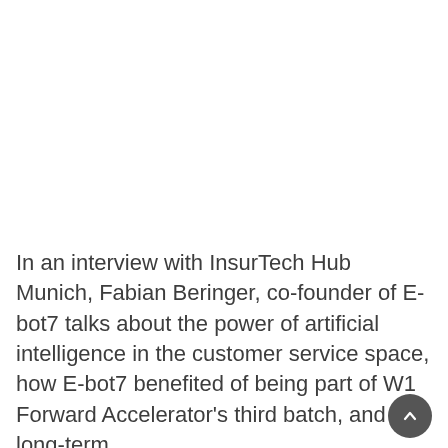In an interview with InsurTech Hub Munich, Fabian Beringer, co-founder of E-bot7 talks about the power of artificial intelligence in the customer service space, how E-bot7 benefited of being part of W1 Forward Accelerator's third batch, and his long-term